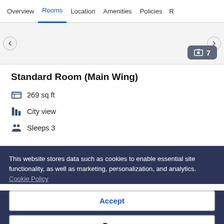Overview | Rooms | Location | Amenities | Policies | R
[Figure (screenshot): Hotel room image area with photo count badge showing 7 images]
Standard Room (Main Wing)
269 sq ft
City view
Sleeps 3
This website stores data such as cookies to enable essential site functionality, as well as marketing, personalization, and analytics. Cookie Policy
Accept
Deny